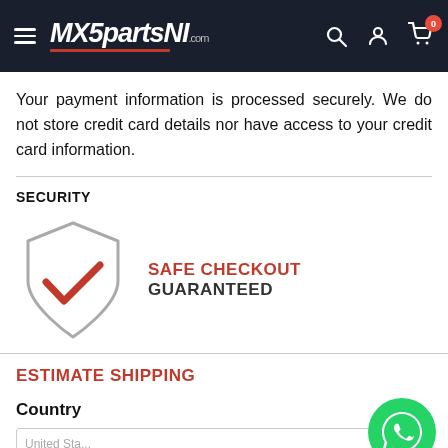MX5partsNI.com — navigation header
Your payment information is processed securely. We do not store credit card details nor have access to your credit card information.
SECURITY
[Figure (illustration): Shield icon with red checkmark and text SAFE CHECKOUT GUARANTEED]
ESTIMATE SHIPPING
Country
[Figure (illustration): WhatsApp green chat button icon in bottom right corner]